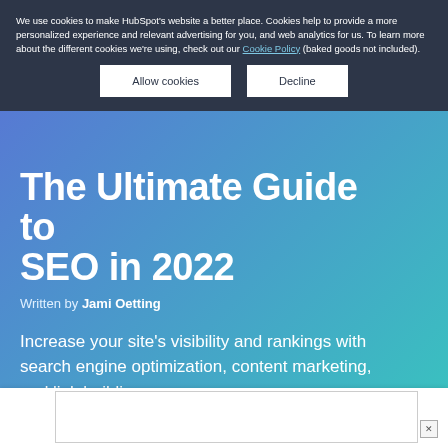We use cookies to make HubSpot's website a better place. Cookies help to provide a more personalized experience and relevant advertising for you, and web analytics for us. To learn more about the different cookies we're using, check out our Cookie Policy (baked goods not included).
Allow cookies | Decline
The Ultimate Guide to SEO in 2022
Written by Jami Oetting
Increase your site's visibility and rankings with search engine optimization, content marketing, and link building.